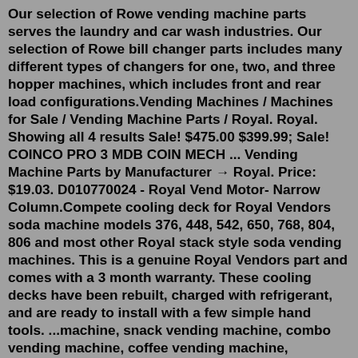Our selection of Rowe vending machine parts serves the laundry and car wash industries. Our selection of Rowe bill changer parts includes many different types of changers for one, two, and three hopper machines, which includes front and rear load configurations.Vending Machines / Machines for Sale / Vending Machine Parts / Royal. Royal. Showing all 4 results Sale! $475.00 $399.99; Sale! COINCO PRO 3 MDB COIN MECH ... Vending Machine Parts by Manufacturer → Royal. Price: $19.03. D010770024 - Royal Vend Motor- Narrow Column.Compete cooling deck for Royal Vendors soda machine models 376, 448, 542, 650, 768, 804, 806 and most other Royal stack style soda vending machines. This is a genuine Royal Vendors part and comes with a 3 month warranty. These cooling decks have been rebuilt, charged with refrigerant, and are ready to install with a few simple hand tools. ...machine, snack vending machine, combo vending machine, coffee vending machine, automatic snack drink vending machine,